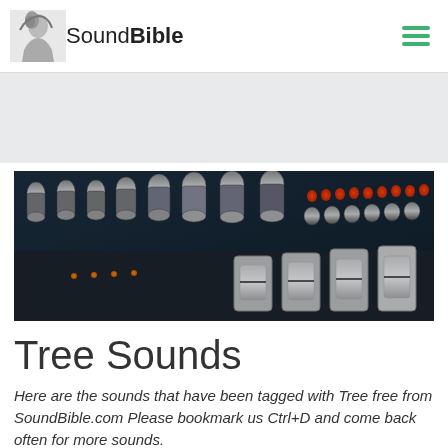SoundBible
[Figure (photo): Close-up photograph of a professional audio mixing console with knobs, faders and orange/red LED indicators]
Tree Sounds
Here are the sounds that have been tagged with Tree free from SoundBible.com Please bookmark us Ctrl+D and come back often for more sounds.